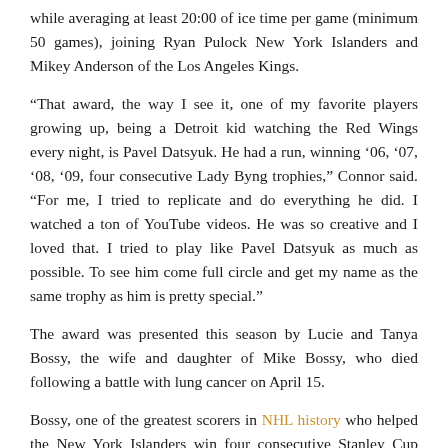while averaging at least 20:00 of ice time per game (minimum 50 games), joining Ryan Pulock New York Islanders and Mikey Anderson of the Los Angeles Kings.
“That award, the way I see it, one of my favorite players growing up, being a Detroit kid watching the Red Wings every night, is Pavel Datsyuk. He had a run, winning ’06, ’07, ’08, ’09, four consecutive Lady Byng trophies,” Connor said. “For me, I tried to replicate and do everything he did. I watched a ton of YouTube videos. He was so creative and I loved that. I tried to play like Pavel Datsyuk as much as possible. To see him come full circle and get my name as the same trophy as him is pretty special.”
The award was presented this season by Lucie and Tanya Bossy, the wife and daughter of Mike Bossy, who died following a battle with lung cancer on April 15.
Bossy, one of the greatest scorers in NHL history who helped the New York Islanders win four consecutive Stanley Cup championships from 1980 to 1983, won the Lady Byng Trophy three times (1983- 84, 1986).